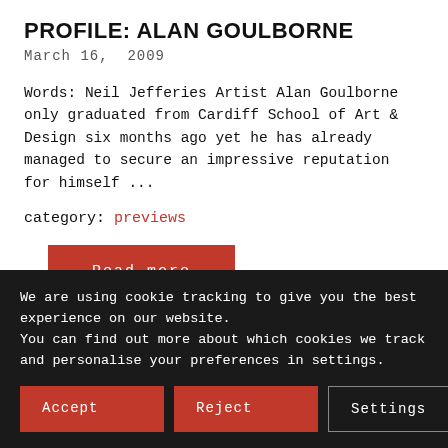PROFILE: ALAN GOULBORNE
March 16, 2009
Words: Neil Jefferies Artist Alan Goulborne only graduated from Cardiff School of Art & Design six months ago yet he has already managed to secure an impressive reputation for himself ...
category: previews
Read more
[Figure (photo): Dark/black image at bottom of article content]
We are using cookie tracking to give you the best experience on our website.
You can find out more about which cookies we track and personalise your preferences in settings.
Accept  Reject  Settings